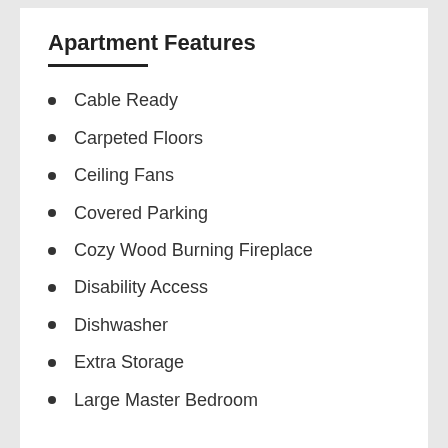Apartment Features
Cable Ready
Carpeted Floors
Ceiling Fans
Covered Parking
Cozy Wood Burning Fireplace
Disability Access
Dishwasher
Extra Storage
Large Master Bedroom